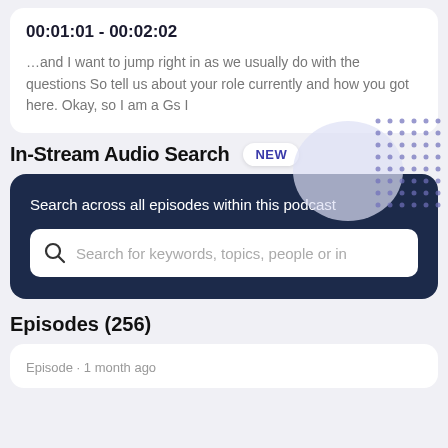00:01:01 - 00:02:02
…and I want to jump right in as we usually do with the questions So tell us about your role currently and how you got here. Okay, so I am a Gs I
In-Stream Audio Search
NEW
Search across all episodes within this podcast
Search for keywords, topics, people or in
Episodes (256)
Episode · 1 month ago